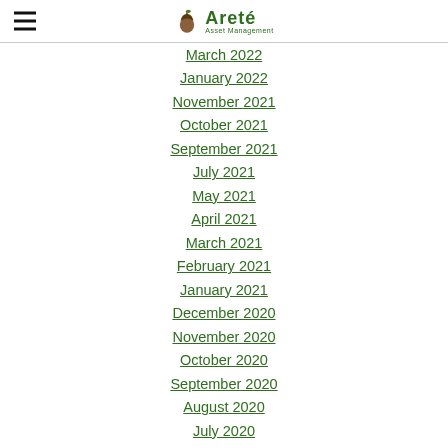Areté Asset Management
March 2022
January 2022
November 2021
October 2021
September 2021
July 2021
May 2021
April 2021
March 2021
February 2021
January 2021
December 2020
November 2020
October 2020
September 2020
August 2020
July 2020
June 2020